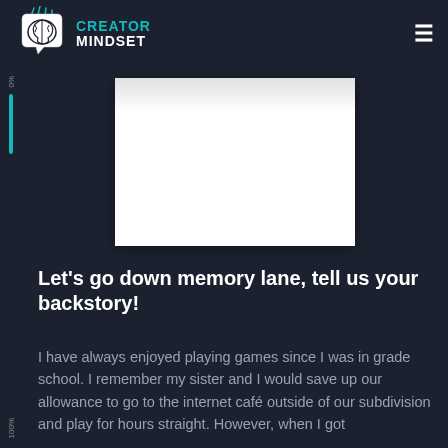Creator Mindset
[Figure (illustration): Creator Mindset logo with brain icon — lightning bolts above a white brain inside a speech bubble, with 'CREATOR MINDSET' text in teal and white]
[Figure (photo): Embedded video or image placeholder — large white/light grey rectangle representing a video embed]
Let's go down memory lane, tell us your backstory!
I have always enjoyed playing games since I was in grade school. I remember my sister and I would save up our allowance to go to the internet café outside of our subdivision and play for hours straight. However, when I got